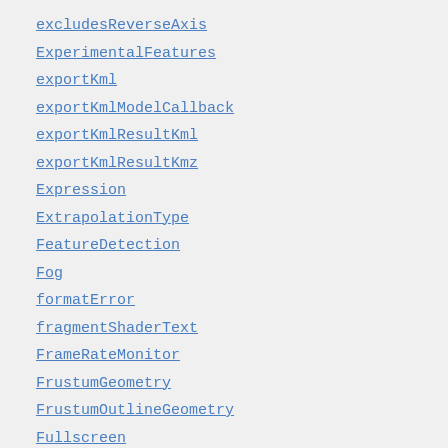excludesReverseAxis
ExperimentalFeatures
exportKml
exportKmlModelCallback
exportKmlResultKml
exportKmlResultKmz
Expression
ExtrapolationType
FeatureDetection
Fog
formatError
fragmentShaderText
FrameRateMonitor
FrustumGeometry
FrustumOutlineGeometry
Fullscreen
FullscreenButton
FullscreenButtonViewModel
Geocoder
GeocoderService